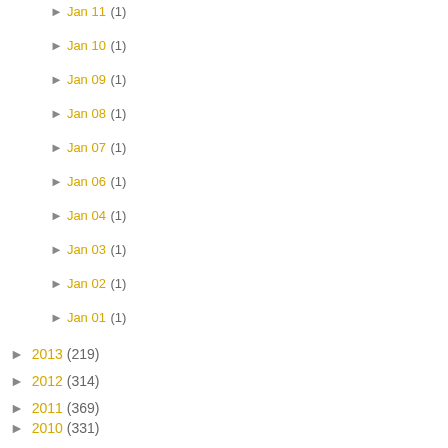► Jan 11 (1)
► Jan 10 (1)
► Jan 09 (1)
► Jan 08 (1)
► Jan 07 (1)
► Jan 06 (1)
► Jan 04 (1)
► Jan 03 (1)
► Jan 02 (1)
► Jan 01 (1)
► 2013 (219)
► 2012 (314)
► 2011 (369)
► 2010 (331)
► 2009 (39)